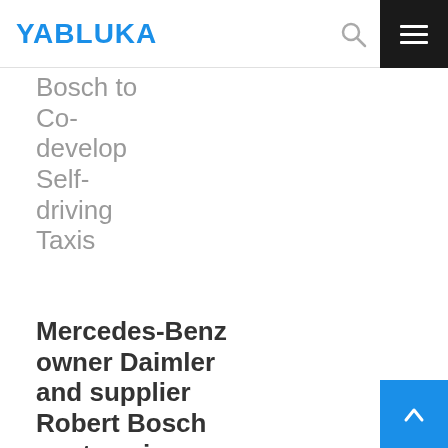YABLUKA
Bosch to Co-develop Self-driving Taxis
Mercedes-Benz owner Daimler and supplier Robert Bosch are teaming up
05/04/2017
Intel Becomes Olympics